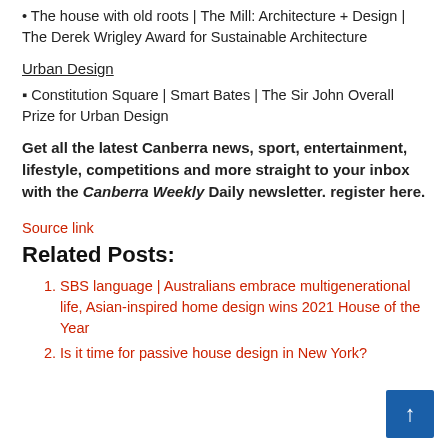• The house with old roots | The Mill: Architecture + Design | The Derek Wrigley Award for Sustainable Architecture
Urban Design
▪ Constitution Square | Smart Bates | The Sir John Overall Prize for Urban Design
Get all the latest Canberra news, sport, entertainment, lifestyle, competitions and more straight to your inbox with the Canberra Weekly Daily newsletter. register here.
Source link
Related Posts:
1. SBS language | Australians embrace multigenerational life, Asian-inspired home design wins 2021 House of the Year
2. Is it time for passive house design in New York?